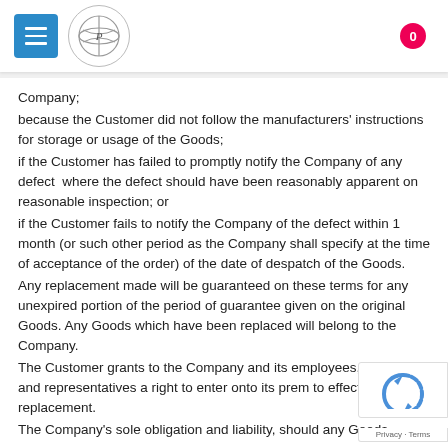Navigation header with menu button, company logo, and cart icon (0 items)
Company;
because the Customer did not follow the manufacturers' instructions for storage or usage of the Goods;
if the Customer has failed to promptly notify the Company of any defect where the defect should have been reasonably apparent on reasonable inspection; or
if the Customer fails to notify the Company of the defect within 1 month (or such other period as the Company shall specify at the time of acceptance of the order) of the date of despatch of the Goods.
Any replacement made will be guaranteed on these terms for any unexpired portion of the period of guarantee given on the original Goods. Any Goods which have been replaced will belong to the Company.
The Customer grants to the Company and its employees, agents and representatives a right to enter onto its prem to effect any replacement.
The Company's sole obligation and liability, should any Goods